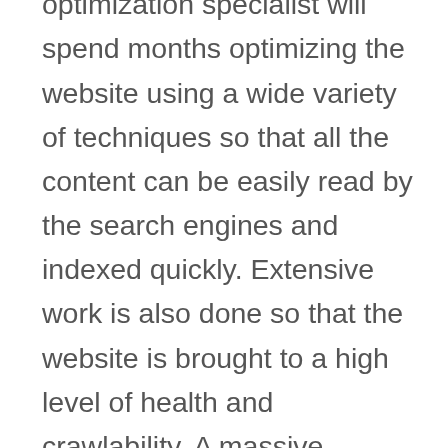opposite. The search engine optimization specialist will spend months optimizing the website using a wide variety of techniques so that all the content can be easily read by the search engines and indexed quickly. Extensive work is also done so that the website is brought to a high level of health and crawlability. A massive amount of keyword research is implemented, and once everything comes together in the eye of the search engine, results can begin to be seen typically within 3-6 months for most industries.